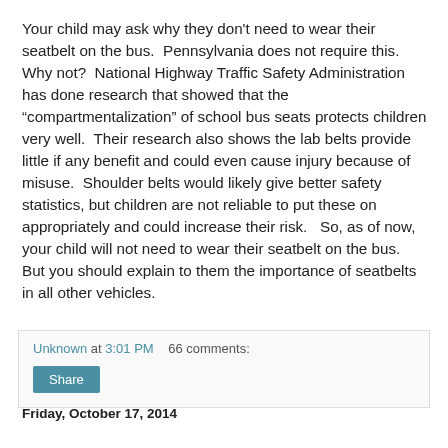Your child may ask why they don't need to wear their seatbelt on the bus.  Pennsylvania does not require this.  Why not?  National Highway Traffic Safety Administration has done research that showed that the “compartmentalization” of school bus seats protects children very well.  Their research also shows the lab belts provide little if any benefit and could even cause injury because of misuse.  Shoulder belts would likely give better safety statistics, but children are not reliable to put these on appropriately and could increase their risk.   So, as of now, your child will not need to wear their seatbelt on the bus.  But you should explain to them the importance of seatbelts in all other vehicles.
Unknown at 3:01 PM    66 comments:
Friday, October 17, 2014